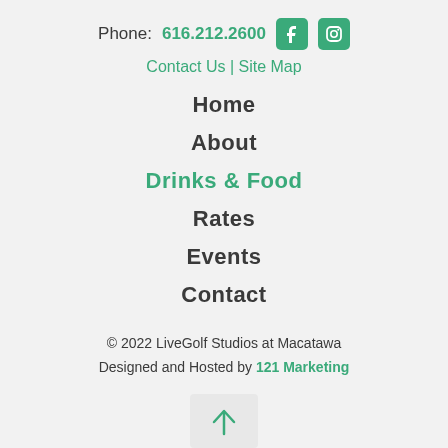Phone: 616.212.2600
Contact Us | Site Map
Home
About
Drinks & Food
Rates
Events
Contact
© 2022 LiveGolf Studios at Macatawa
Designed and Hosted by 121 Marketing
[Figure (other): Back to top arrow button in a light grey square]